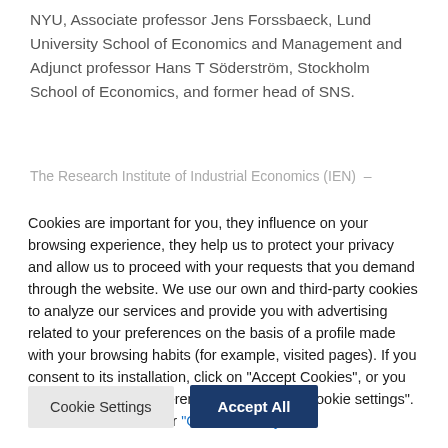NYU, Associate professor Jens Forssbaeck, Lund University School of Economics and Management and Adjunct professor Hans T Söderström, Stockholm School of Economics, and former head of SNS.
The Research Institute of Industrial Economics (IEN)...
Cookies are important for you, they influence on your browsing experience, they help us to protect your privacy and allow us to proceed with your requests that you demand through the website. We use our own and third-party cookies to analyze our services and provide you with advertising related to your preferences on the basis of a profile made with your browsing habits (for example, visited pages). If you consent to its installation, click on "Accept Cookies", or you can also set your preferences by pressing "Cookie settings". More information in our "Cookies Policy".